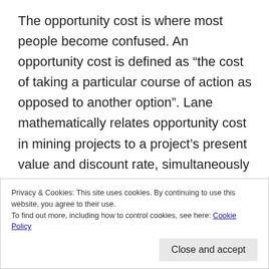The opportunity cost is where most people become confused. An opportunity cost is defined as “the cost of taking a particular course of action as opposed to another option”. Lane mathematically relates opportunity cost in mining projects to a project’s present value and discount rate, simultaneously calculating cut-offs for mining, processing and marketing to result in an optimal cut-off. Again, the mathematics is involved. This can be done on a spreadsheet, but there are a number of commercial software algorithms that do this
Privacy & Cookies: This site uses cookies. By continuing to use this website, you agree to their use.
To find out more, including how to control cookies, see here: Cookie Policy